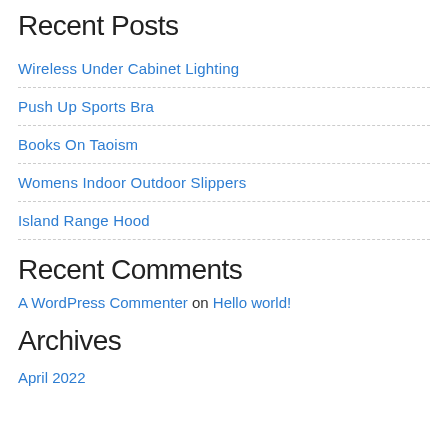Recent Posts
Wireless Under Cabinet Lighting
Push Up Sports Bra
Books On Taoism
Womens Indoor Outdoor Slippers
Island Range Hood
Recent Comments
A WordPress Commenter on Hello world!
Archives
April 2022